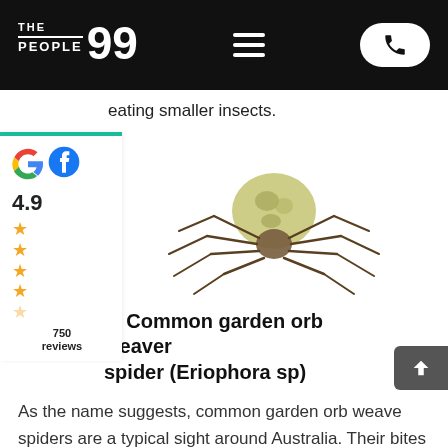THE 99 PEOPLE — navigation bar with hamburger menu and phone button
eating smaller insects.
[Figure (photo): Close-up photo of a common garden orb weaver spider (Eriophora sp) on white background, showing yellowish-green abdomen and brown legs]
0. Common garden orb weaver spider (Eriophora sp)
As the name suggests, common garden orb weave spiders are a typical sight around Australia. Their bites have only minor effects, such as some local